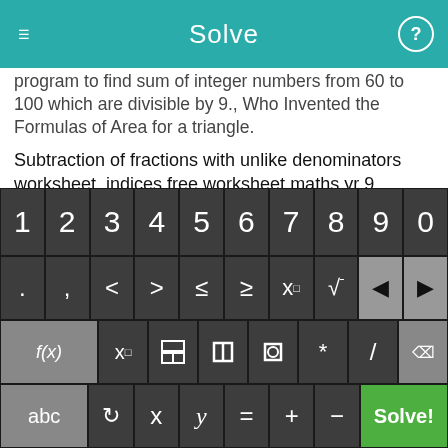Solve
program to find sum of integer numbers from 60 to 100 which are divisible by 9., Who Invented the Formulas of Area for a triangle.
Subtraction of fractions with unlike denominators worksheet, indices free worksheet,maths yr 9, algebra fractions calculator, fractions lesson first grade printables, domain of a polynomial square root, Math firstgrade sheets, expression simplify calculator.
Absolute value inequalities worksheets, how to easy find Least Common Dominator, plotting points worksheets, Matrix Inverse
[Figure (screenshot): On-screen math keyboard with digits 1-9,0 in top row; symbols (. , < > ≤ ≥ x^□ √□ backspace arrows) in second row; function keys (f(x), x□, fraction, absolute value, parentheses, *, /) and delete in third row; (abc, rotation, x, y, =, +, -, Solve! button) in fourth row]